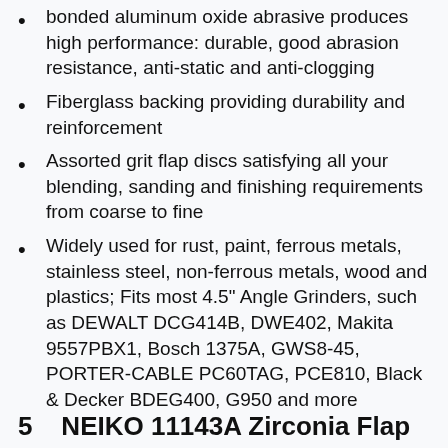bonded aluminum oxide abrasive produces high performance: durable, good abrasion resistance, anti-static and anti-clogging
Fiberglass backing providing durability and reinforcement
Assorted grit flap discs satisfying all your blending, sanding and finishing requirements from coarse to fine
Widely used for rust, paint, ferrous metals, stainless steel, non-ferrous metals, wood and plastics; Fits most 4.5" Angle Grinders, such as DEWALT DCG414B, DWE402, Makita 9557PBX1, Bosch 1375A, GWS8-45, PORTER-CABLE PC60TAG, PCE810, Black & Decker BDEG400, G950 and more
5   NEIKO 11143A Zirconia Flap